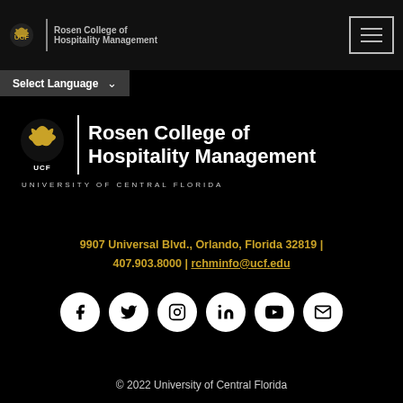Rosen College of Hospitality Management
Select Language
[Figure (logo): UCF Rosen College of Hospitality Management logo with pegasus icon, vertical divider, and college name in bold white text. Subtitle: UNIVERSITY OF CENTRAL FLORIDA]
9907 Universal Blvd., Orlando, Florida 32819 | 407.903.8000 | rchminfo@ucf.edu
[Figure (infographic): Six social media icons in white circles: Facebook, Twitter, Instagram, LinkedIn, YouTube, Email]
© 2022 University of Central Florida